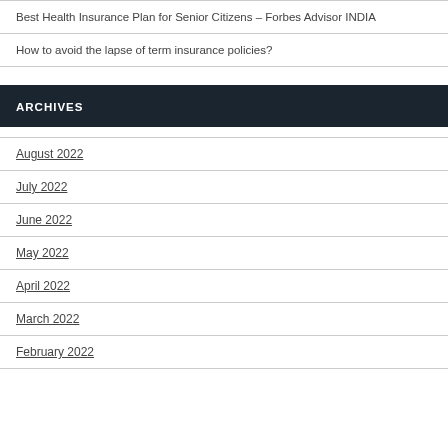Best Health Insurance Plan for Senior Citizens – Forbes Advisor INDIA
How to avoid the lapse of term insurance policies?
ARCHIVES
August 2022
July 2022
June 2022
May 2022
April 2022
March 2022
February 2022